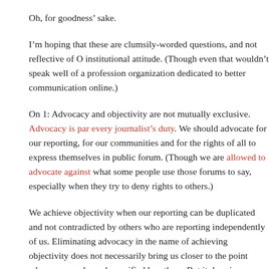Oh, for goodness' sake.
I'm hoping that these are clumsily-worded questions, and not reflective of O institutional attitude. (Though even that wouldn't speak well of a professional organization dedicated to better communication online.)
On 1: Advocacy and objectivity are not mutually exclusive. Advocacy is par every journalist's duty. We should advocate for our reporting, for our communities and for the rights of all to express themselves in public forum. (Though we are allowed to advocate against what some people use those forums to say, especially when they try to deny rights to others.)
We achieve objectivity when our reporting can be duplicated and not contradicted by others who are reporting independently of us. Eliminating advocacy in the name of achieving objectivity does not necessarily bring us closer to the point where our work can be verified by others. But it does isolate us from the communities and causes we should be helping by illuminating truth.
On 5: The mass market was a myth. As soon as publishing technology allowed them the choice, they were going to choose to read and watch information